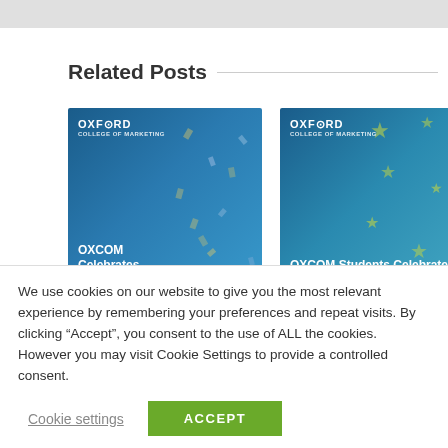Related Posts
[Figure (screenshot): OXCOM Celebrates Additional Recommendations - Oxford College of Marketing blog post card with blue background and confetti]
[Figure (screenshot): OXCOM Students Celebrate Fantastic 97% Pass Rate For CIM Assessments! - Oxford College of Marketing blog post card with blue background and star decorations]
We use cookies on our website to give you the most relevant experience by remembering your preferences and repeat visits. By clicking “Accept”, you consent to the use of ALL the cookies. However you may visit Cookie Settings to provide a controlled consent.
Cookie settings
ACCEPT